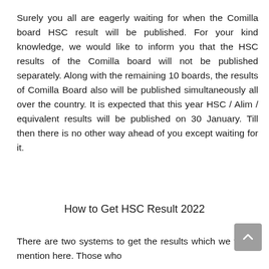Surely you all are eagerly waiting for when the Comilla board HSC result will be published. For your kind knowledge, we would like to inform you that the HSC results of the Comilla board will not be published separately. Along with the remaining 10 boards, the results of Comilla Board also will be published simultaneously all over the country. It is expected that this year HSC / Alim / equivalent results will be published on 30 January. Till then there is no other way ahead of you except waiting for it.
How to Get HSC Result 2022
There are two systems to get the results which we would mention here. Those who